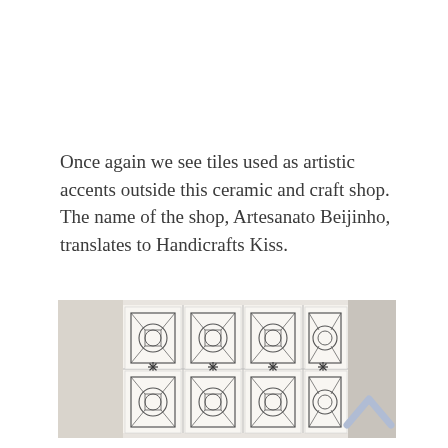Once again we see tiles used as artistic accents outside this ceramic and craft shop. The name of the shop, Artesanato Beijinho, translates to Handicrafts Kiss.
[Figure (photo): A horizontal photograph showing decorative ceramic tiles with intricate black-on-white geometric and floral patterns arranged in a row, with plain walls visible on either side.]